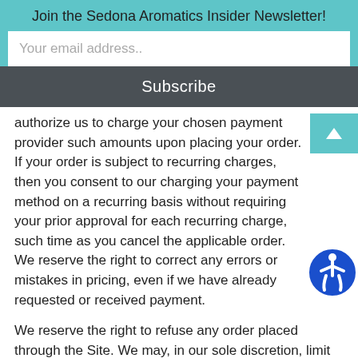Join the Sedona Aromatics Insider Newsletter!
Your email address..
Subscribe
authorize us to charge your chosen payment provider such amounts upon placing your order. If your order is subject to recurring charges, then you consent to our charging your payment method on a recurring basis without requiring your prior approval for each recurring charge, such time as you cancel the applicable order. We reserve the right to correct any errors or mistakes in pricing, even if we have already requested or received payment.
We reserve the right to refuse any order placed through the Site. We may, in our sole discretion, limit or cancel quantities purchased per person, per household, or per order. These restrictions may include orders placed by or under the same customer account, the same payment method, and/or orders that use the same billing or shipping address. We